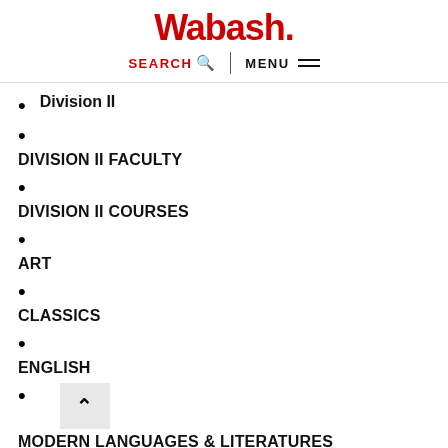Wabash.
Division II
DIVISION II FACULTY
DIVISION II COURSES
ART
CLASSICS
ENGLISH
MODERN LANGUAGES & LITERATURES